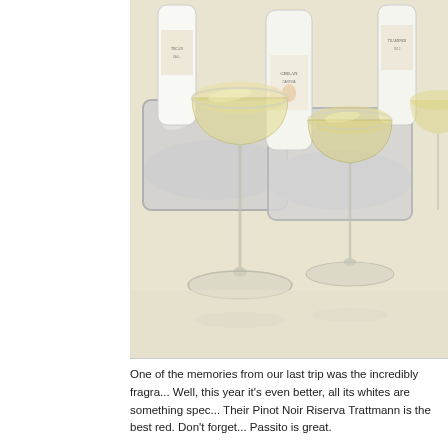[Figure (photo): Photo of wine glasses with white wine and wine bottles in ice buckets on a light-colored table. Labels on bottles include Girlan and other winery names.]
One of the memories from our last trip was the incredibly fragra... Well, this year it's even better, all its whites are something spec... Their Pinot Noir Riserva Trattmann is the best red. Don't forget... Passito is great.